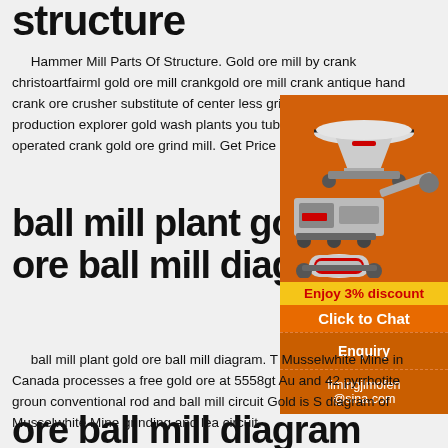structure
Hammer Mill Parts Of Structure. Gold ore mill by crank christoartfairml gold ore mill crankgold ore mill crank antique hand crank ore crusher substitute of center less grinding machine production explorer gold wash plants you tube read more hand operated crank gold ore grind mill. Get Price
ball mill plant go ore ball mill diag
[Figure (illustration): Orange banner advertisement showing mining/crushing machinery images (cone crusher, mobile crusher, ball mill) with promotional text 'Enjoy 3% discount', 'Click to Chat', 'Enquiry', and 'limingjlmofen@sina.com']
ball mill plant gold ore ball mill diagram. T Musselwhite Mine in Canada processes a free gold ore at 5558gt Au and 42 pyrrhotite groun conventional rod and ball mill circuit Gold is S diagram of Musselwhite Mine grinding and lea circuit.
ore ball mill diagram